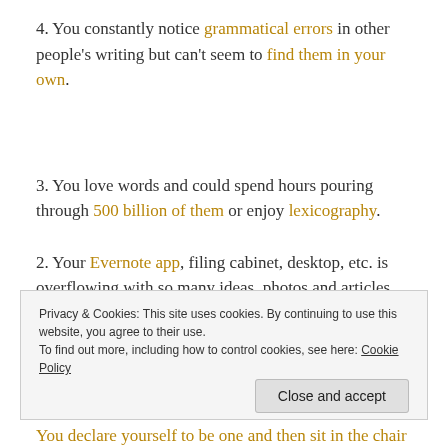4. You constantly notice grammatical errors in other people's writing but can't seem to find them in your own.
3. You love words and could spend hours pouring through 500 billion of them or enjoy lexicography.
2. Your Evernote app, filing cabinet, desktop, etc. is overflowing with so many ideas, photos and articles for
Privacy & Cookies: This site uses cookies. By continuing to use this website, you agree to their use.
To find out more, including how to control cookies, see here: Cookie Policy
You declare yourself to be one and then sit in the chair